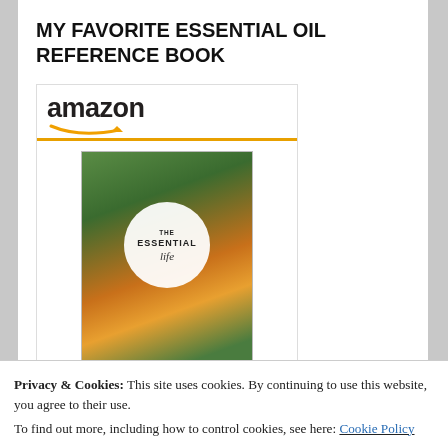MY FAVORITE ESSENTIAL OIL REFERENCE BOOK
[Figure (other): Amazon widget showing 'The Essential Life 6th Edition...' book priced at $26.25 with a Shop now button. The widget has the Amazon logo with smile arrow, a book cover image featuring oranges and a circular badge reading 'THE ESSENTIAL life'.]
Privacy & Cookies: This site uses cookies. By continuing to use this website, you agree to their use.
To find out more, including how to control cookies, see here: Cookie Policy
Close and accept